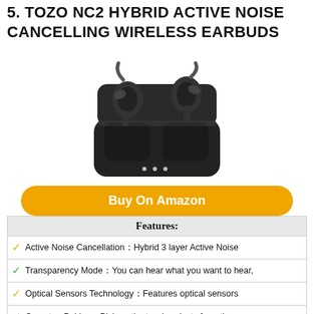5. TOZO NC2 HYBRID ACTIVE NOISE CANCELLING WIRELESS EARBUDS
[Figure (photo): TOZO NC2 wireless earbuds in a charging case, shown from the front with the lid open. Both earbuds are placed inside the black charging case.]
Buy On Amazon
| Features: |
| --- |
| ✓ Active Noise Cancellation：Hybrid 3 layer Active Noise |
| ✓ Transparency Mode： You can hear what you want to hear, |
| ✓ Optical Sensors Technology：Features optical sensors |
| ✓ One-step Pairing：Pick up the two headsets from the |
| ✓ Charge on the go：TOZO NC2 wireless earbuds can last |